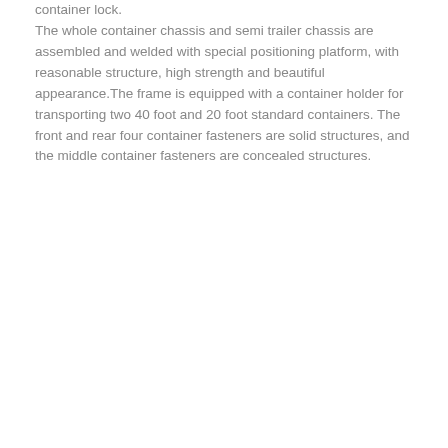container lock. The whole container chassis and semi trailer chassis are assembled and welded with special positioning platform, with reasonable structure, high strength and beautiful appearance.The frame is equipped with a container holder for transporting two 40 foot and 20 foot standard containers. The front and rear four container fasteners are solid structures, and the middle container fasteners are concealed structures.